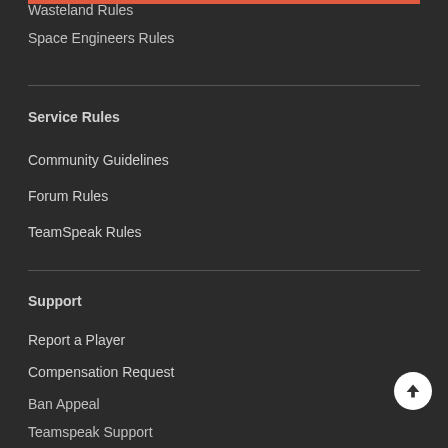Wasteland Rules
Space Engineers Rules
Service Rules
Community Guidelines
Forum Rules
TeamSpeak Rules
Support
Report a Player
Compensation Request
Ban Appeal
Teamspeak Support
Discord
Social Media